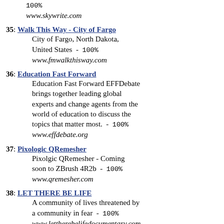100%
www.skywrite.com
35: Walk This Way - City of Fargo
City of Fargo, North Dakota, United States  -  100%
www.fmwalkthisway.com
36: Education Fast Forward
Education Fast Forward EFFDebate brings together leading global experts and change agents from the world of education to discuss the topics that matter most.  -  100%
www.effdebate.org
37: Pixologic QRemesher
Pixolgic QRemesher - Coming soon to ZBrush 4R2b  -  100%
www.qremesher.com
38: LET THERE BE LIFE
A community of lives threatened by a community in fear  -  100%
www.lettherebelifedocumentary.com